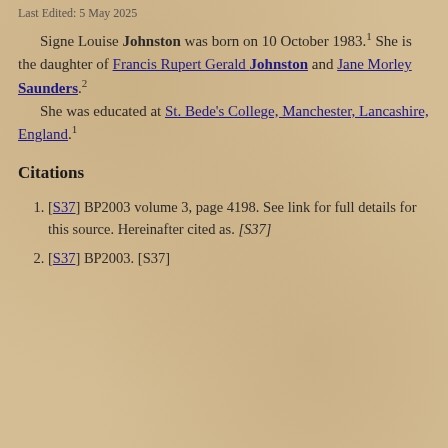Last Edited: 5 May 2025
Signe Louise Johnston was born on 10 October 1983.¹ She is the daughter of Francis Rupert Gerald Johnston and Jane Morley Saunders.² She was educated at St. Bede's College, Manchester, Lancashire, England.¹
Citations
[S37] BP2003 volume 3, page 4198. See link for full details for this source. Hereinafter cited as. [S37]
[S37] BP2003. [S37]